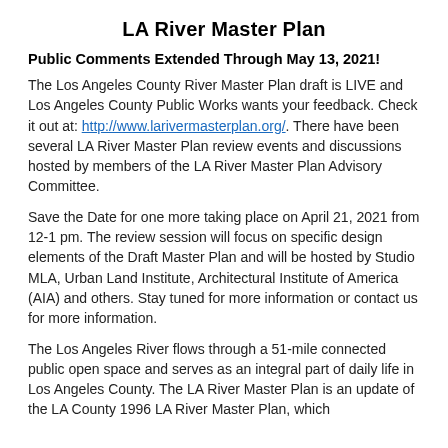LA River Master Plan
Public Comments Extended Through May 13, 2021!
The Los Angeles County River Master Plan draft is LIVE and Los Angeles County Public Works wants your feedback. Check it out at: http://www.larivermasterplan.org/. There have been several LA River Master Plan review events and discussions hosted by members of the LA River Master Plan Advisory Committee.
Save the Date for one more taking place on April 21, 2021 from 12-1 pm. The review session will focus on specific design elements of the Draft Master Plan and will be hosted by Studio MLA, Urban Land Institute, Architectural Institute of America (AIA) and others. Stay tuned for more information or contact us for more information.
The Los Angeles River flows through a 51-mile connected public open space and serves as an integral part of daily life in Los Angeles County. The LA River Master Plan is an update of the LA County 1996 LA River Master Plan, which